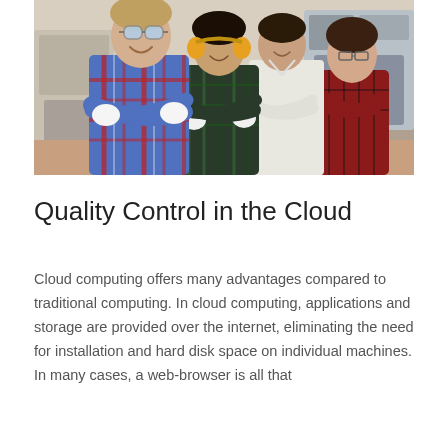[Figure (photo): Four young workers in a factory or workshop setting, smiling and crossing their arms. The man on the left wears safety goggles and a blue/red plaid shirt; the woman next to him wears yellow ear protection and a dark plaid shirt; behind them are a man in a white shirt and a woman in a red/black plaid shirt. Industrial machinery is visible in the background.]
Quality Control in the Cloud
Cloud computing offers many advantages compared to traditional computing. In cloud computing, applications and storage are provided over the internet, eliminating the need for installation and hard disk space on individual machines. In many cases, a web-browser is all that is required from the user to interact with...